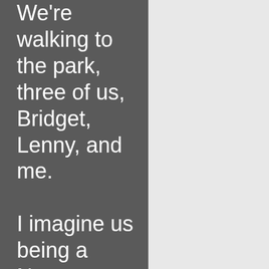We're walking to the park, three of us, Bridget, Lenny, and me.

I imagine us being a Norman Rockwell painting.

But my foot hurts. It's